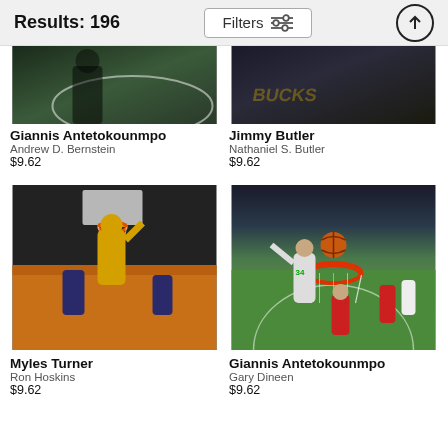Results: 196 | Filters
[Figure (photo): Basketball action photo - Giannis Antetokounmpo, partial/cropped top]
[Figure (photo): Basketball action photo - Jimmy Butler, partial/cropped top]
Giannis Antetokounmpo
Andrew D. Bernstein
$9.62
Jimmy Butler
Nathaniel S. Butler
$9.62
[Figure (photo): Basketball action photo - Myles Turner dunking in Indiana Pacers yellow jersey]
[Figure (photo): Basketball action photo - Giannis Antetokounmpo #34 in Milwaukee Bucks, aerial view near basket]
Myles Turner
Ron Hoskins
$9.62
Giannis Antetokounmpo
Gary Dineen
$9.62